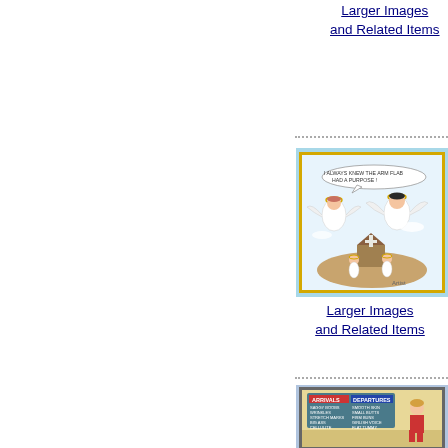Larger Images
and Related Items
[Figure (illustration): Cartoon of two angels flying with halos, one saying 'I always knew the arm flab had a purpose!', with small angel figures below near a church]
Larger Images
and Related Items
[Figure (illustration): Cartoon showing a hospital/airport-style Arrivals and Departures board with humorous entries about body changes with age, with a woman looking at it]